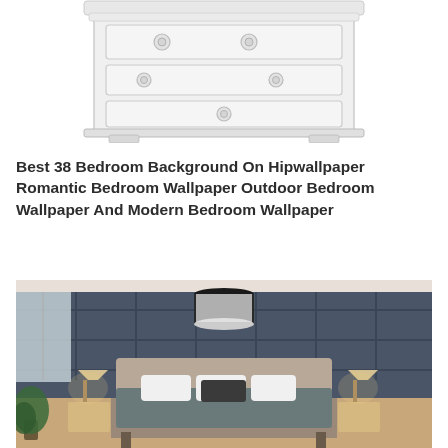[Figure (illustration): White dresser/nightstand furniture piece with circular drawer pulls, shown partially cropped at top of page]
Best 38 Bedroom Background On Hipwallpaper Romantic Bedroom Wallpaper Outdoor Bedroom Wallpaper And Modern Bedroom Wallpaper
[Figure (photo): Modern bedroom with dark slate-blue padded wall panels, a large bed with gray bedding and white pillows, two bedside tables with lamps, a hanging black drum ceiling light, and a plant in the lower left corner]